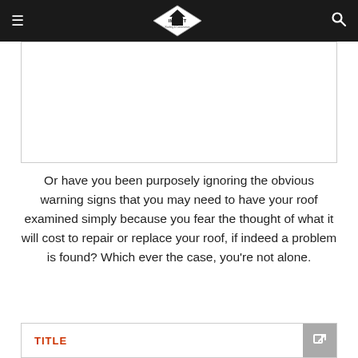Impact Roofing & Construction — navigation bar with hamburger menu and search icon
[Figure (photo): White rectangular image placeholder area with light border]
Or have you been purposely ignoring the obvious warning signs that you may need to have your roof examined simply because you fear the thought of what it will cost to repair or replace your roof, if indeed a problem is found? Which ever the case, you're not alone.
TITLE